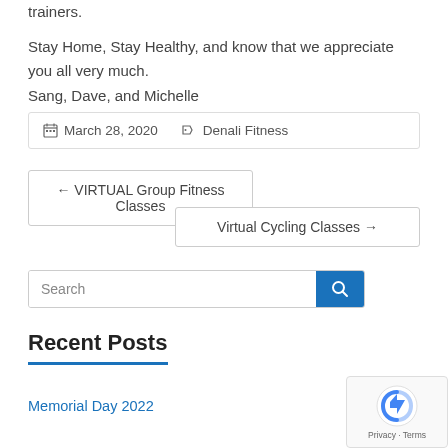trainers.
Stay Home, Stay Healthy, and know that we appreciate you all very much.
Sang, Dave, and Michelle
March 28, 2020    Denali Fitness
← VIRTUAL Group Fitness Classes
Virtual Cycling Classes →
Search
Recent Posts
Memorial Day 2022